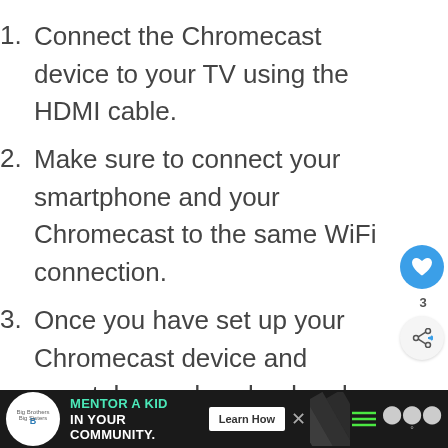Connect the Chromecast device to your TV using the HDMI cable.
Make sure to connect your smartphone and your Chromecast to the same WiFi connection.
Once you have set up your Chromecast device and smartphone, download and launch the Tubi TV application.
In the top right corner of your screen, there is an icon for the cast. Select that icon and
[Figure (screenshot): Advertisement banner for Big Brothers Big Sisters: 'Mentor a Kid in Your Community' with Learn How button]